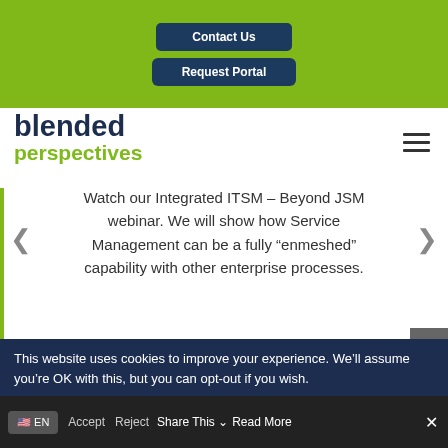Contact Us | Request Portal
[Figure (logo): Blended Perspectives company logo with 'blended' in dark navy bold and 'perspectives' in green below]
Watch our Integrated ITSM – Beyond JSM webinar. We will show how Service Management can be a fully “enmeshed” capability with other enterprise processes.
Read More
This website uses cookies to improve your experience. We'll assume you're OK with this, but you can opt-out if you wish.
EN | Accept | Reject | Share This | Read More | ×